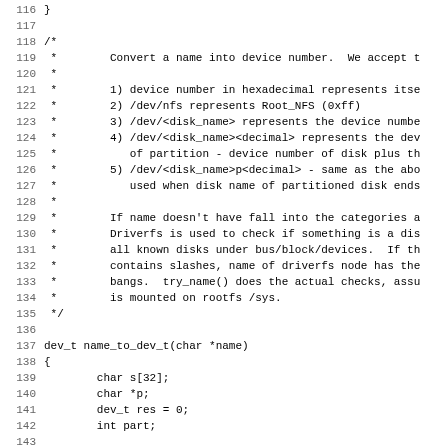Source code listing, lines 116-147, showing name_to_dev_t function and preceding block comment in C programming language.